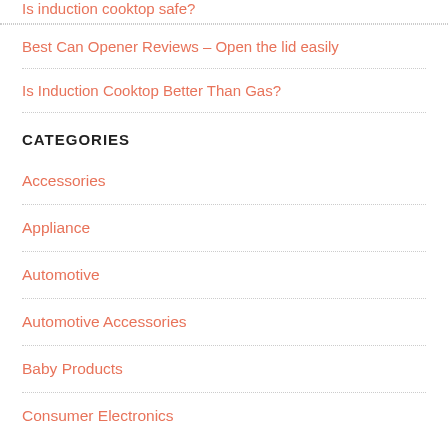Is induction cooktop safe?
Best Can Opener Reviews – Open the lid easily
Is Induction Cooktop Better Than Gas?
CATEGORIES
Accessories
Appliance
Automotive
Automotive Accessories
Baby Products
Consumer Electronics